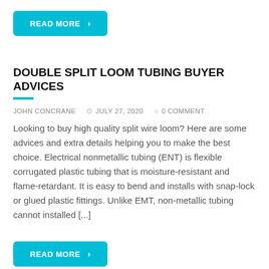READ MORE >
DOUBLE SPLIT LOOM TUBING BUYER ADVICES
JOHN CONCRANE   JULY 27, 2020   0 COMMENT
Looking to buy high quality split wire loom? Here are some advices and extra details helping you to make the best choice. Electrical nonmetallic tubing (ENT) is flexible corrugated plastic tubing that is moisture-resistant and flame-retardant. It is easy to bend and installs with snap-lock or glued plastic fittings. Unlike EMT, non-metallic tubing cannot installed [...]
READ MORE >